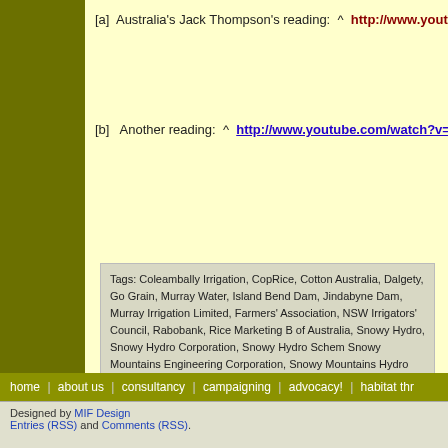[a]  Australia's Jack Thompson's reading:  ^  http://www.youtube.co...
[b]   Another reading:  ^  http://www.youtube.com/watch?v=fs_-Dk...
Tags: Coleambally Irrigation, CopRice, Cotton Australia, Dalgety, Go Grain, Murray Water, Island Bend Dam, Jindabyne Dam, Murray Irrigation Limited, Farmers' Association, NSW Irrigators' Council, Rabobank, Rice Marketing Board of Australia, Snowy Hydro, Snowy Hydro Corporation, Snowy Hydro Scheme, Snowy Mountains Engineering Corporation, Snowy Mountains Hydro Electric Alliance, Snowy River Basin, SunRice, The Australian Rural Leadership Program, from Snowy River, Wesfarmers Federation Insurance
Posted in Gippsland (AU), Threats from Farming, Threats from Hydro and...
Add this post to Del.icio.us - Digg
home | about us | consultancy | campaigning | advocacy! | habitat thr...
Designed by MIF Design
Entries (RSS) and Comments (RSS).